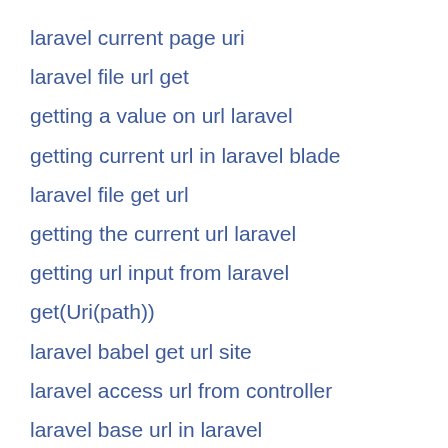laravel current page uri
laravel file url get
getting a value on url laravel
getting current url in laravel blade
laravel file get url
getting the current url laravel
getting url input from laravel
get(Uri(path))
laravel babel get url site
laravel access url from controller
laravel base url in laravel
laravel 8 grab current url
laravel 8 get intended url
laravel blade page url